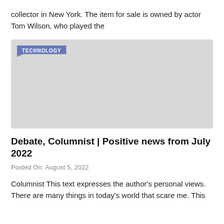collector in New York. The item for sale is owned by actor Tom Wilson, who played the
[Figure (photo): Gray placeholder image with a blue 'TECHNOLOGY' badge in the top-left corner]
Debate, Columnist | Positive news from July 2022
Posted On: August 5, 2022
Columnist This text expresses the author's personal views. There are many things in today's world that scare me. This